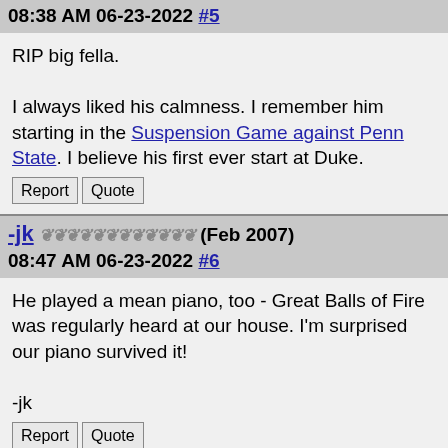08:38 AM 06-23-2022 #5
RIP big fella.

I always liked his calmness. I remember him starting in the Suspension Game against Penn State. I believe his first ever start at Duke.
Report  Quote
-jk ❧❧❧❧❧❧❧❧❧❧❧❧ (Feb 2007)
08:47 AM 06-23-2022 #6
He played a mean piano, too - Great Balls of Fire was regularly heard at our house. I'm surprised our piano survived it!

-jk
Report  Quote
budwom ❧❧❧❧❧❧❧❧❧❧❧❧ (Nov 2007)